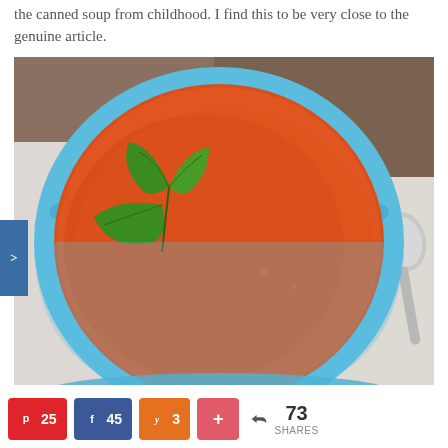the canned soup from childhood. I find this to be very close to the genuine article.
[Figure (photo): Overhead view of a blue bowl filled with tomato soup garnished with fresh basil leaves, with a spoon resting beside the bowl on a white cloth background.]
25  45  3  +  < 73 SHARES